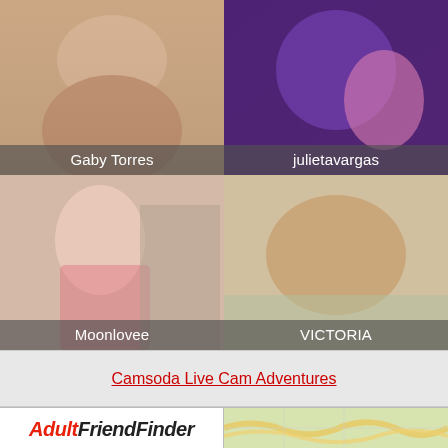[Figure (photo): Thumbnail of Gaby Torres webcam performer, back view]
[Figure (photo): Thumbnail of julietavargas webcam performer with pink toy, purple lighting]
[Figure (photo): Thumbnail of Moonlovee webcam performer, Asian woman in pink]
[Figure (photo): Thumbnail of VICTORIA webcam performer, dark hair, pink bikini]
Camsoda Live Cam Adventures
[Figure (logo): AdultFriendFinder logo]
[Figure (map): Map thumbnail with VA 267 and VA 7 route badges]